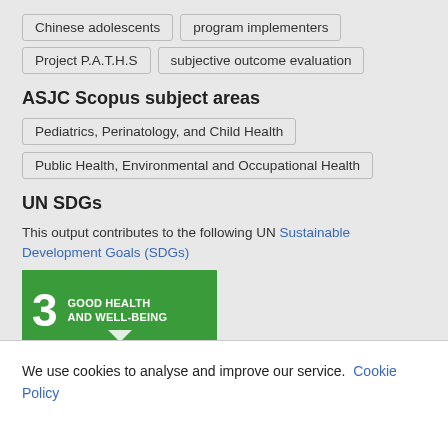Chinese adolescents
program implementers
Project P.A.T.H.S
subjective outcome evaluation
ASJC Scopus subject areas
Pediatrics, Perinatology, and Child Health
Public Health, Environmental and Occupational Health
UN SDGs
This output contributes to the following UN Sustainable Development Goals (SDGs)
[Figure (infographic): UN SDG 3 - Good Health and Well-Being green badge icon with number 3 and chevron arrow symbol]
We use cookies to analyse and improve our service. Cookie Policy